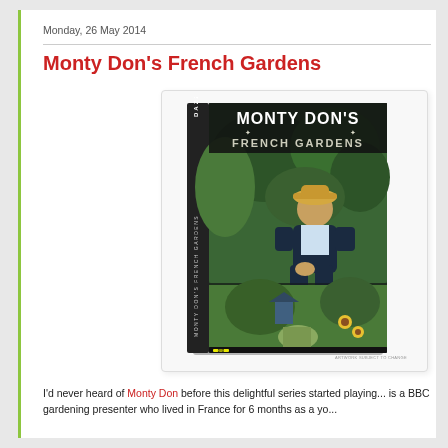Monday, 26 May 2014
Monty Don's French Gardens
[Figure (photo): DVD cover of Monty Don's French Gardens showing a man in a straw hat seated in a garden, with a lower panel showing a garden path with sunflowers. Published by Dazzler. Labeled ARTWORK SUBJECT TO CHANGE.]
I'd never heard of Monty Don before this delightful series started playing... is a BBC gardening presenter who lived in France for 6 months as a yo...